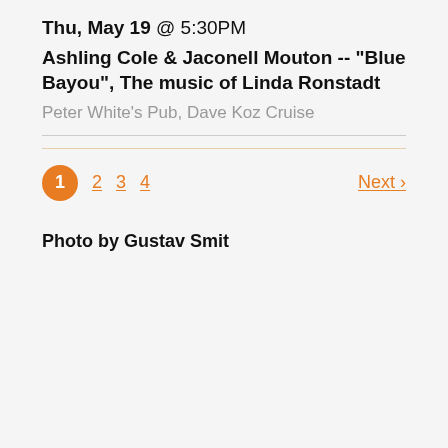Thu, May 19 @ 5:30PM
Ashling Cole & Jaconell Mouton -- "Blue Bayou", The music of Linda Ronstadt
Peter White's Pub, Dave Koz Cruise
1 2 3 4 Next ›
Photo by Gustav Smit